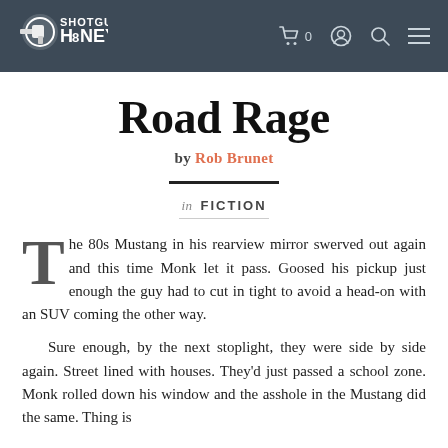SHOTGUN HONEY
Road Rage
by Rob Brunet
in FICTION
The 80s Mustang in his rearview mirror swerved out again and this time Monk let it pass. Goosed his pickup just enough the guy had to cut in tight to avoid a head-on with an SUV coming the other way.
Sure enough, by the next stoplight, they were side by side again. Street lined with houses. They'd just passed a school zone. Monk rolled down his window and the asshole in the Mustang did the same. Thing is